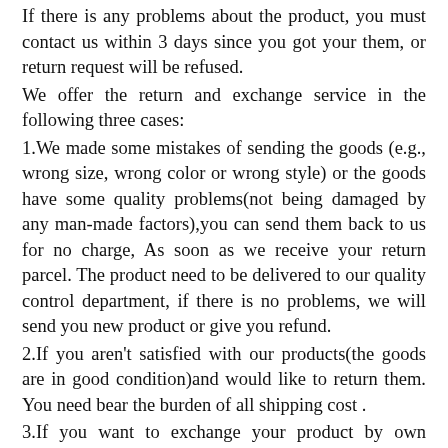If there is any problems about the product, you must contact us within 3 days since you got your them, or return request will be refused.
We offer the return and exchange service in the following three cases:
1.We made some mistakes of sending the goods (e.g., wrong size, wrong color or wrong style) or the goods have some quality problems(not being damaged by any man-made factors),you can send them back to us for no charge, As soon as we receive your return parcel. The product need to be delivered to our quality control department, if there is no problems, we will send you new product or give you refund.
2.If you aren't satisfied with our products(the goods are in good condition)and would like to return them. You need bear the burden of all shipping cost .
3.If you want to exchange your product by own problems(pick wrong size ,wrong color or wrong style ),you need to pay all exchange shipping fee.